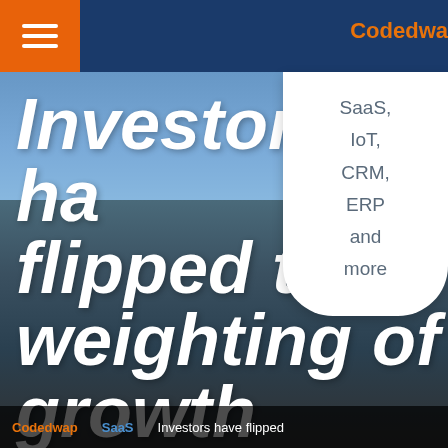[Figure (screenshot): Website screenshot showing a navigation bar with hamburger menu icon in orange, brand name 'Codedwa...' in orange on dark navy background, a dropdown menu showing 'SaaS, IoT, CRM, ERP and more', and a large hero image with text 'Investors have flipped the weighting of growth versus profitability' overlaid in white bold italic text on a sky/outdoor background photo]
Codedwa
Investors have flipped the weighting of growth versus profitability
SaaS,
IoT,
CRM,
ERP
and more
Codedwap   SaaS   Investors have flipped